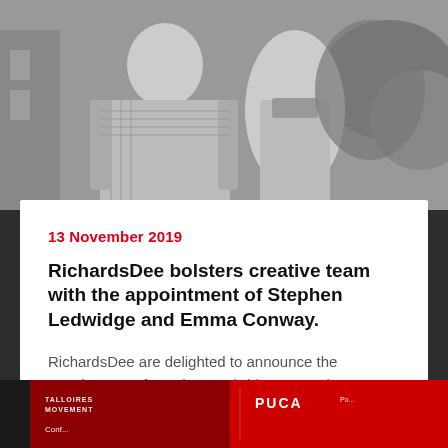[Figure (photo): Black and white photograph of two people, a man on the left and a woman on the right, posed together outdoors]
13 November 2019
RichardsDee bolsters creative team with the appointment of Stephen Ledwidge and Emma Conway.
RichardsDee are delighted to announce the appointment of Stephen Ledwidge as Design Director and Emma Conway as Senior Designer. The...
[Figure (photo): Dark strip at the bottom showing a red-toned image with text including PUCA and other partially visible text]